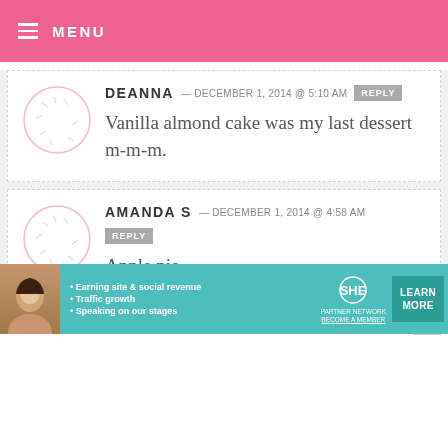MENU
DEANNA — DECEMBER 1, 2014 @ 5:10 AM  REPLY
Vanilla almond cake was my last dessert m-m-m.
AMANDA S — DECEMBER 1, 2014 @ 4:58 AM  REPLY
Apple pie
[Figure (screenshot): Partial third comment block with close X button]
[Figure (infographic): SHE Partner Network advertisement banner: Earning site & social revenue, Traffic growth, Speaking on our stages. LEARN MORE button.]